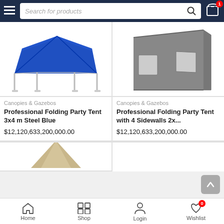[Figure (screenshot): E-commerce mobile app screenshot showing search bar with hamburger menu and cart icon in dark navy header]
[Figure (photo): Blue folding party tent canopy with metal frame legs]
Canopies & Gazebos
Professional Folding Party Tent 3x4 m Steel Blue
$12,120,633,200,000.00
[Figure (photo): Gray folding party tent sidewall panel with two windows]
Canopies & Gazebos
Professional Folding Party Tent with 4 Sidewalls 2x...
$12,120,633,200,000.00